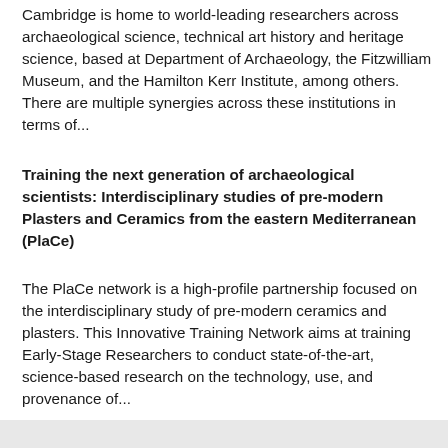Cambridge is home to world-leading researchers across archaeological science, technical art history and heritage science, based at Department of Archaeology, the Fitzwilliam Museum, and the Hamilton Kerr Institute, among others. There are multiple synergies across these institutions in terms of...
Training the next generation of archaeological scientists: Interdisciplinary studies of pre-modern Plasters and Ceramics from the eastern Mediterranean (PlaCe)
The PlaCe network is a high-profile partnership focused on the interdisciplinary study of pre-modern ceramics and plasters. This Innovative Training Network aims at training Early-Stage Researchers to conduct state-of-the-art, science-based research on the technology, use, and provenance of...